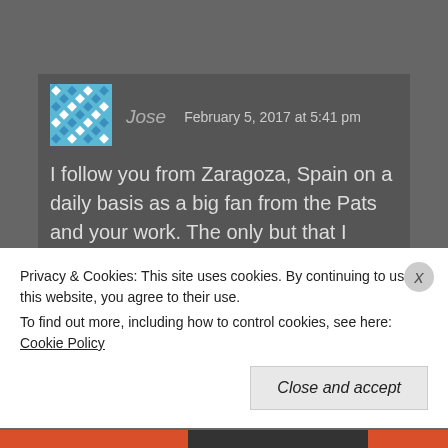[Figure (screenshot): User avatar - blue and white geometric pattern tile]
Jose   February 5, 2017 at 5:41 pm
I follow you from Zaragoza, Spain on a daily basis as a big fan from the Pats and your work. The only but that I would mention to your work this year is (and this is very personal) that in the last week I found difficult to know what was the status on the team in terms of practice, injuries or
Privacy & Cookies: This site uses cookies. By continuing to use this website, you agree to their use.
To find out more, including how to control cookies, see here: Cookie Policy